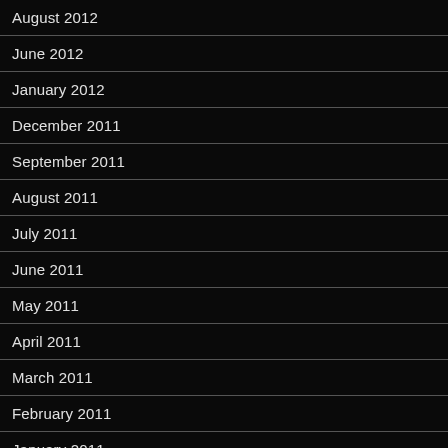August 2012
June 2012
January 2012
December 2011
September 2011
August 2011
July 2011
June 2011
May 2011
April 2011
March 2011
February 2011
January 2011